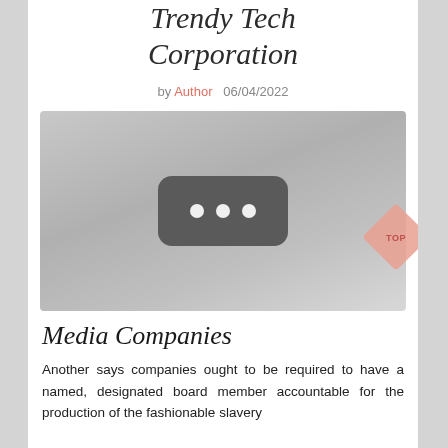Trendy Tech Corporation
by Author   06/04/2022
[Figure (other): A grey placeholder image with a dark rounded rectangle containing three white dots, resembling a video player loading indicator.]
Media Companies
Another says companies ought to be required to have a named, designated board member accountable for the production of the fashionable slavery